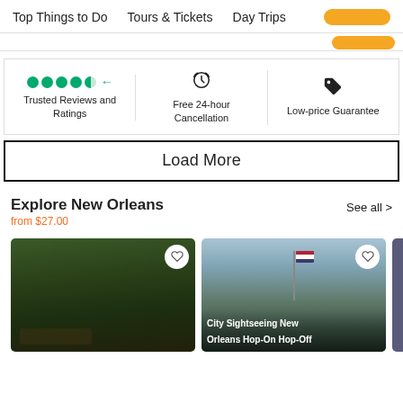Top Things to Do  Tours & Tickets  Day Trips
[Figure (screenshot): Yellow/orange pill/button at top right of search bar area]
[Figure (infographic): Trust bar with three sections: (1) green Tripadvisor dots and left-arrow icon with text 'Trusted Reviews and Ratings', (2) clock/refresh icon with text 'Free 24-hour Cancellation', (3) price-tag icon with text 'Low-price Guarantee']
Load More
Explore New Orleans
from $27.00
See all >
[Figure (photo): Swamp boat tour photo with dark green vegetation and a boat visible at bottom left, heart/favorite button at top right]
[Figure (photo): City Sightseeing New Orleans Hop-On Hop-Off bus tour photo showing a flag on a pole against a partly cloudy sky with trees and church spire, heart/favorite button at top right, caption: 'City Sightseeing New Orleans Hop-On Hop-Off']